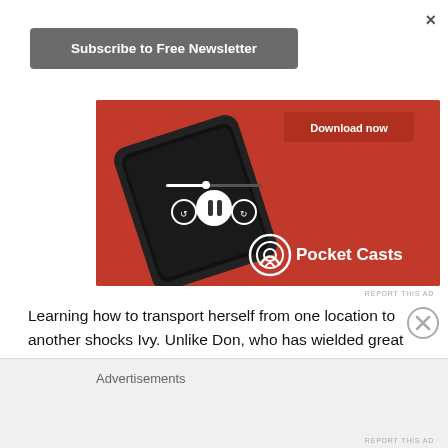×
Subscribe to Free Newsletter
[Figure (screenshot): Pocket Casts advertisement showing a red smartphone with podcast app interface open, displaying playback controls and 'Download now' button. Pocket Casts logo visible at bottom.]
REPORT THIS AD
Learning how to transport herself from one location to another shocks Ivy. Unlike Don, who has wielded great power his whole life, her skills as an assassin are more practical in nature, and she worries that having shifted safely to Austria
Advertisements
REPORT THIS AD